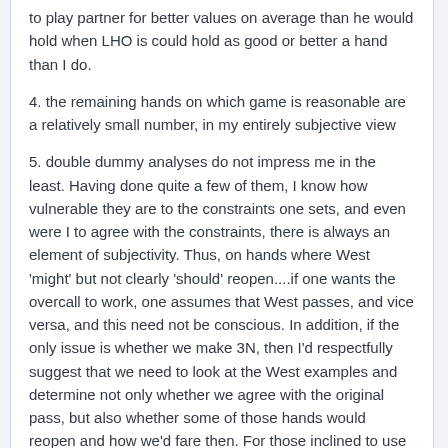to play partner for better values on average than he would hold when LHO is could hold as good or better a hand than I do.
4. the remaining hands on which game is reasonable are a relatively small number, in my entirely subjective view
5. double dummy analyses do not impress me in the least. Having done quite a few of them, I know how vulnerable they are to the constraints one sets, and even were I to agree with the constraints, there is always an element of subjectivity. Thus, on hands where West 'might' but not clearly 'should' reopen....if one wants the overcall to work, one assumes that West passes, and vice versa, and this need not be conscious. In addition, if the only issue is whether we make 3N, then I'd respectfully suggest that we need to look at the West examples and determine not only whether we agree with the original pass, but also whether some of those hands would reopen and how we'd fare then. For those inclined to use double-dummy analysis, and at the risk of sounding condescending, there is a lot of work that needs to be done, and specified for others to understand what you have done, before the data is of any real use.
As for what West would do, I agree entirely with Stephen: I would